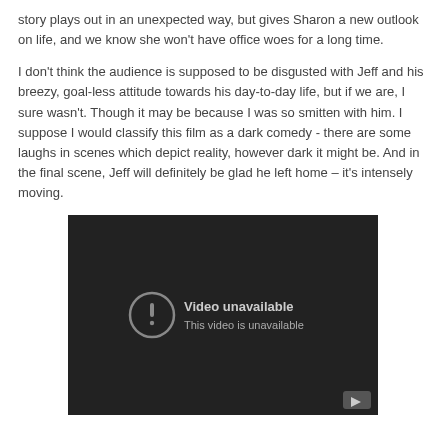story plays out in an unexpected way, but gives Sharon a new outlook on life, and we know she won't have office woes for a long time.
I don't think the audience is supposed to be disgusted with Jeff and his breezy, goal-less attitude towards his day-to-day life, but if we are, I sure wasn't. Though it may be because I was so smitten with him. I suppose I would classify this film as a dark comedy - there are some laughs in scenes which depict reality, however dark it might be. And in the final scene, Jeff will definitely be glad he left home – it's intensely moving.
[Figure (screenshot): Embedded video player showing 'Video unavailable / This video is unavailable' message on a dark background with a YouTube play button icon in the bottom right.]